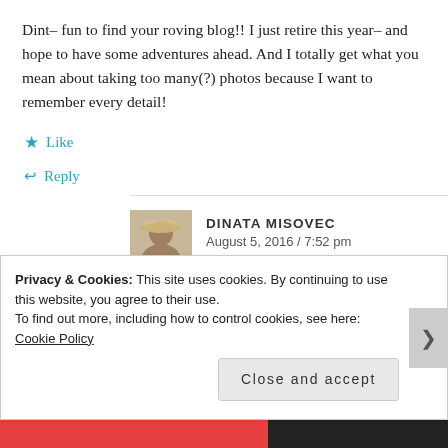Dint– fun to find your roving blog!! I just retire this year– and hope to have some adventures ahead. And I totally get what you mean about taking too many(?) photos because I want to remember every detail!
★ Like
↩ Reply
DINATA MISOVEC
August 5, 2016 / 7:52 pm
Privacy & Cookies: This site uses cookies. By continuing to use this website, you agree to their use.
To find out more, including how to control cookies, see here: Cookie Policy
Close and accept